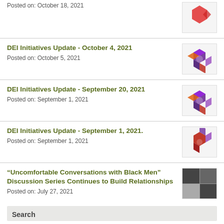Posted on: October 18, 2021
DEI Initiatives Update - October 4, 2021
Posted on: October 5, 2021
DEI Initiatives Update - September 20, 2021
Posted on: September 1, 2021
DEI Initiatives Update - September 1, 2021.
Posted on: September 1, 2021
“Uncomfortable Conversations with Black Men” Discussion Series Continues to Build Relationships
Posted on: July 27, 2021
Search